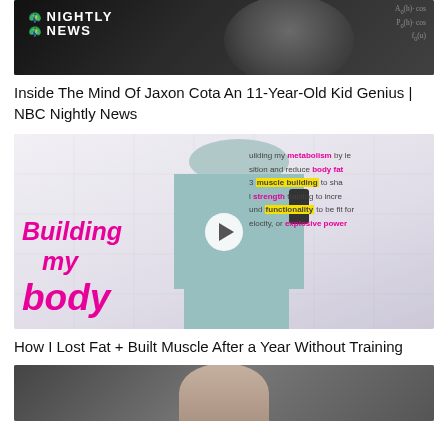[Figure (screenshot): NBC Nightly News thumbnail showing a person against a chalkboard background with math equations, with NBC peacock logo and NIGHTLY NEWS text]
Inside The Mind Of Jaxon Cota An 11-Year-Old Kid Genius | NBC Nightly News
[Figure (screenshot): Fitness video thumbnail titled 'Building my body' in large pink text with a woman in athletic wear taking a selfie, and text overlay listing metabolism, body fat, muscle building, strength, functionality, explosive power]
How I Lost Fat + Built Muscle After a Year Without Training
[Figure (screenshot): Partially visible third video thumbnail showing a person from the torso down]